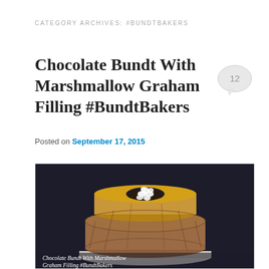CATEGORY ARCHIVES: #BUNDTBAKERS
Chocolate Bundt With Marshmallow Graham Filling #BundtBakers
Posted on September 17, 2015
[Figure (photo): Photo of a chocolate bundt cake with marshmallow graham filling, placed on a white plate against a dark background. The cake is golden-brown with a hollow center filled with white mini marshmallows. Caption reads: Chocolate Bundt With Marshmallow Graham Filling #BundtBakers]